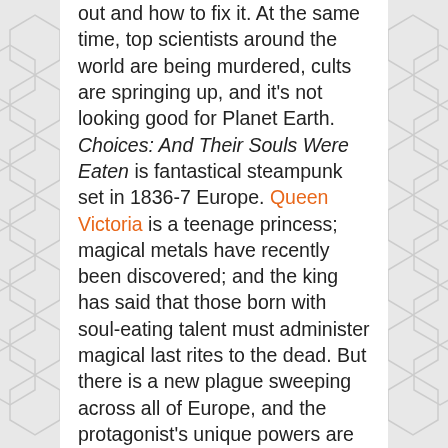out and how to fix it. At the same time, top scientists around the world are being murdered, cults are springing up, and it's not looking good for Planet Earth. Choices: And Their Souls Were Eaten is fantastical steampunk set in 1836-7 Europe. Queen Victoria is a teenage princess; magical metals have recently been discovered; and the king has said that those born with soul-eating talent must administer magical last rites to the dead. But there is a new plague sweeping across all of Europe, and the protagonist's unique powers are essential in saving the world of the living from the world of the dead.